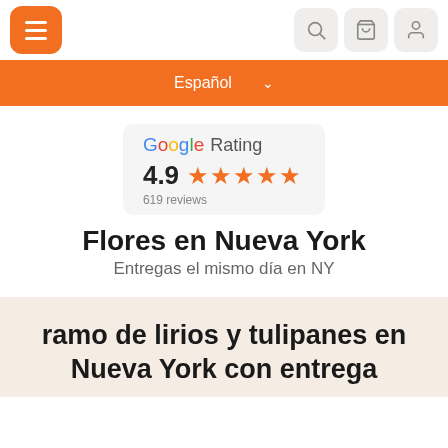Navigation bar with hamburger menu, search, cart, and user icons
Español
[Figure (other): Google Rating badge showing 4.9 stars and 619 reviews]
Flores en Nueva York
Entregas el mismo día en NY
ramo de lirios y tulipanes en Nueva York con entrega